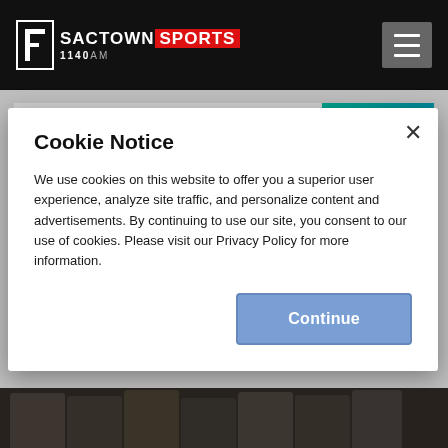SACTOWN SPORTS 1140AM
[Figure (screenshot): Advertisement banner: The financial partner for you. First Tech + Sactown Sports. Become a member button.]
Cookie Notice
We use cookies on this website to offer you a superior user experience, analyze site traffic, and personalize content and advertisements. By continuing to use our site, you consent to our use of cookies. Please visit our Privacy Policy for more information.
[Figure (photo): Photo strip of group of people standing in front of brick wall at bottom of page.]